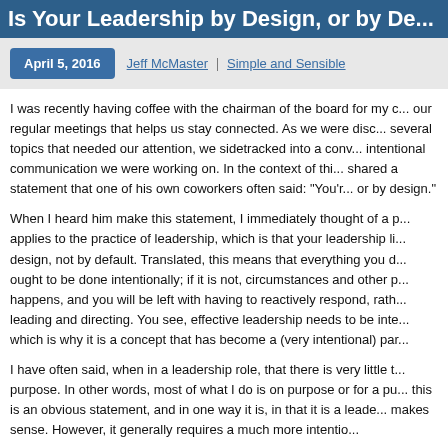Is Your Leadership by Design, or by De...
April 5, 2016 | Jeff McMaster | Simple and Sensible
I was recently having coffee with the chairman of the board for my o... our regular meetings that helps us stay connected. As we were disc... several topics that needed our attention, we sidetracked into a conv... intentional communication we were working on. In the context of thi... shared a statement that one of his own coworkers often said: "You'r... or by design."
When I heard him make this statement, I immediately thought of a p... applies to the practice of leadership, which is that your leadership li... design, not by default. Translated, this means that everything you d... ought to be done intentionally; if it is not, circumstances and other p... happens, and you will be left with having to reactively respond, rath... leading and directing. You see, effective leadership needs to be inte... which is why it is a concept that has become a (very intentional) par...
I have often said, when in a leadership role, that there is very little t... purpose. In other words, most of what I do is on purpose or for a pu... this is an obvious statement, and in one way it is, in that it is a leade... makes sense. However, it generally requires a much more intentio...